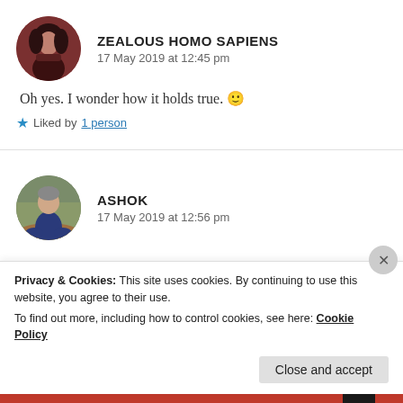[Figure (photo): Circular avatar of Zealous Homo Sapiens — dark reddish-brown silhouette figure]
ZEALOUS HOMO SAPIENS
17 May 2019 at 12:45 pm
Oh yes. I wonder how it holds true. 🙂
★ Liked by 1 person
[Figure (photo): Circular avatar of Ashok — man sitting outdoors in a forested/nature setting]
ASHOK
17 May 2019 at 12:56 pm
Privacy & Cookies: This site uses cookies. By continuing to use this website, you agree to their use.
To find out more, including how to control cookies, see here: Cookie Policy
Close and accept